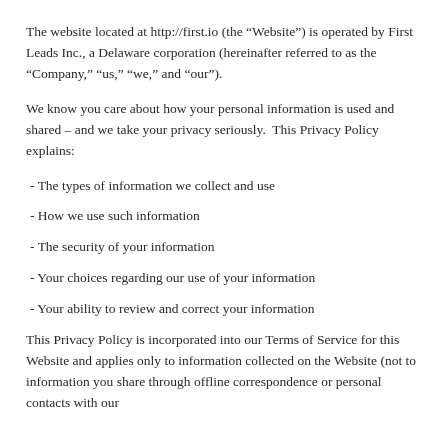The website located at http://first.io (the “Website”) is operated by First Leads Inc., a Delaware corporation (hereinafter referred to as the “Company,” “us,” “we,” and “our”).
We know you care about how your personal information is used and shared – and we take your privacy seriously.  This Privacy Policy explains:
- The types of information we collect and use
- How we use such information
- The security of your information
- Your choices regarding our use of your information
- Your ability to review and correct your information
This Privacy Policy is incorporated into our Terms of Service for this Website and applies only to information collected on the Website (not to information you share through offline correspondence or personal contacts with our